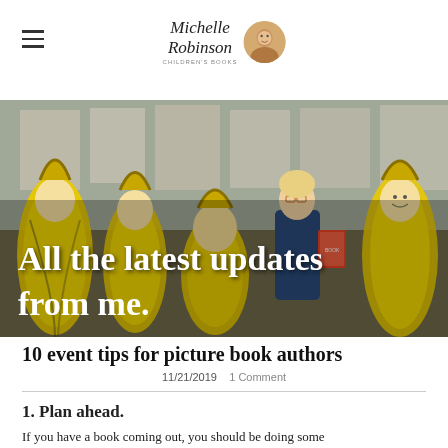Michelle Robinson children's books
[Figure (photo): Group photo of children and a woman (teacher/author) dressed in yellow banana costumes in a classroom setting]
All the latest updates from me.
10 event tips for picture book authors
11/21/2019  1 Comment
1. Plan ahead.
If you have a book coming out, you should be doing some